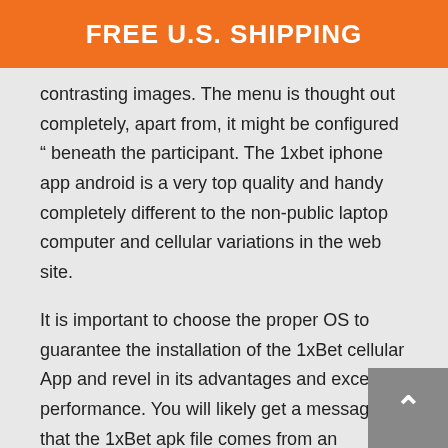FREE U.S. SHIPPING
contrasting images. The menu is thought out completely, apart from, it might be configured " beneath the participant. The 1xbet iphone app android is a very top quality and handy completely different to the non-public laptop computer and cellular variations in the web site.
It is important to choose the proper OS to guarantee the installation of the 1xBet cellular App and revel in its advantages and excellent performance. You will likely get a message that the 1xBet apk file comes from an unknown source. There is not any want to worry as a result of it's a commonplace notification, but you can ensure that this utility is absolutely protected to make use of. Just continue with downloading, open the file as soon as it's carried out, and set up the application by clicking the related button. It is crucial to obtain the best file depending on the OS of your cell gadget.